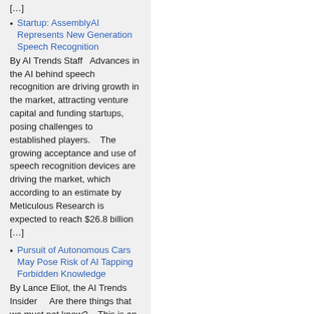[…]
Startup: AssemblyAI Represents New Generation Speech Recognition
By AI Trends Staff   Advances in the AI behind speech recognition are driving growth in the market, attracting venture capital and funding startups, posing challenges to established players.    The growing acceptance and use of speech recognition devices are driving the market, which according to an estimate by Meticulous Research is expected to reach $26.8 billion […]
Pursuit of Autonomous Cars May Pose Risk of AI Tapping Forbidden Knowledge
By Lance Eliot, the AI Trends Insider     Are there things that we must not know?    This is an age-old question. Some assert that there is the potential for knowledge that ought to not be known. In other words, there are ideas, concepts, or mental formulations that should we become aware of that knowledge it could be […]
Archives
September 2022
August 2022
July 2022
June 2022